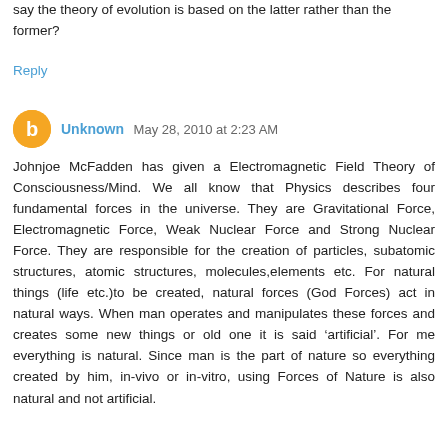say the theory of evolution is based on the latter rather than the former?
Reply
Unknown May 28, 2010 at 2:23 AM
Johnjoe McFadden has given a Electromagnetic Field Theory of Consciousness/Mind. We all know that Physics describes four fundamental forces in the universe. They are Gravitational Force, Electromagnetic Force, Weak Nuclear Force and Strong Nuclear Force. They are responsible for the creation of particles, subatomic structures, atomic structures, molecules,elements etc. For natural things (life etc.)to be created, natural forces (God Forces) act in natural ways. When man operates and manipulates these forces and creates some new things or old one it is said ‘artificial’. For me everything is natural. Since man is the part of nature so everything created by him, in-vivo or in-vitro, using Forces of Nature is also natural and not artificial.